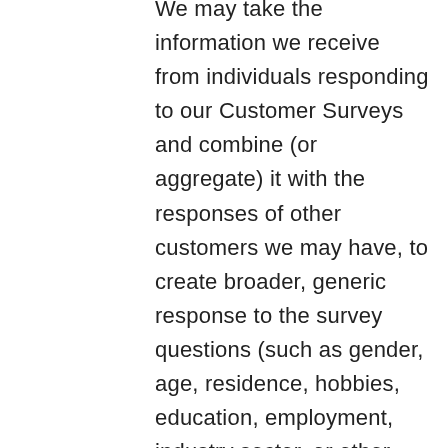We may take the information we receive from individuals responding to our Customer Surveys and combine (or aggregate) it with the responses of other customers we may have, to create broader, generic response to the survey questions (such as gender, age, residence, hobbies, education, employment, industry sector, or other demographic information). We then use the aggregated